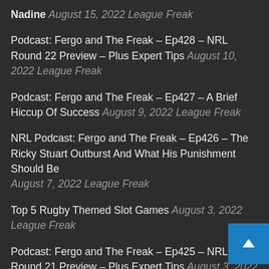Nadine August 15, 2022 League Freak
Podcast: Fergo and The Freak – Ep428 – NRL Round 22 Preview – Plus Expert Tips August 10, 2022 League Freak
Podcast: Fergo and The Freak – Ep427 – A Brief Hiccup Of Success August 9, 2022 League Freak
NRL Podcast: Fergo and The Freak – Ep426 – The Ricky Stuart Outburst And What His Punishment Should Be August 7, 2022 League Freak
Top 5 Rugby Themed Slot Games August 3, 2022 League Freak
Podcast: Fergo and The Freak – Ep425 – NRL Round 21 Preview – Plus Expert Tips August 3, 2022 League Freak
Podcast: Fergo and The Freak – Ep424 – Will The Parramatta Eels Miss The NRL Finals? August 2, 2022